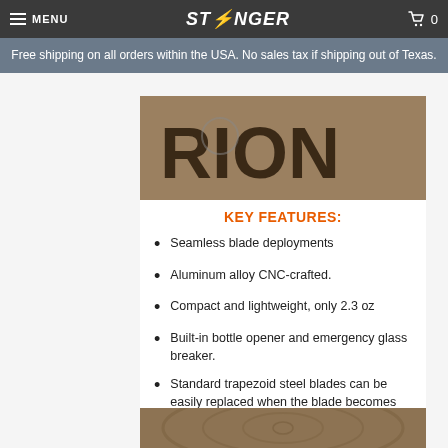MENU | STINGER | 0
Free shipping on all orders within the USA. No sales tax if shipping out of Texas.
[Figure (photo): Product image showing partial text 'RION' on a wooden background]
KEY FEATURES:
Seamless blade deployments
Aluminum alloy CNC-crafted.
Compact and lightweight, only 2.3 oz
Built-in bottle opener and emergency glass breaker.
Standard trapezoid steel blades can be easily replaced when the blade becomes dull.
[Figure (photo): Product image on wooden background, bottom portion visible]